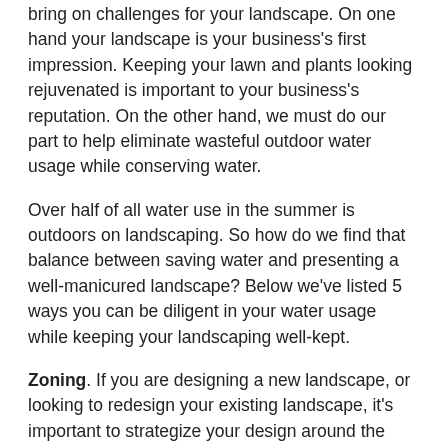bring on challenges for your landscape. On one hand your landscape is your business's first impression. Keeping your lawn and plants looking rejuvenated is important to your business's reputation. On the other hand, we must do our part to help eliminate wasteful outdoor water usage while conserving water.
Over half of all water use in the summer is outdoors on landscaping. So how do we find that balance between saving water and presenting a well-manicured landscape? Below we've listed 5 ways you can be diligent in your water usage while keeping your landscaping well-kept.
Zoning. If you are designing a new landscape, or looking to redesign your existing landscape, it's important to strategize your design around the regions climate and zones. One way to do this is to be aware of and map out zones that are hot and sunny, cool and shady, and moist or dry. Planning according to light exposure and your site's natural conditions will significantly reduce water usage and allow your plants to flourish.